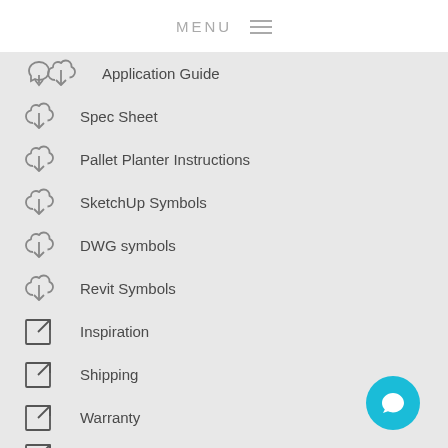MENU
Application Guide
Spec Sheet
Pallet Planter Instructions
SketchUp Symbols
DWG symbols
Revit Symbols
Inspiration
Shipping
Warranty
Request a Sample
[Figure (illustration): Cyan circular chat/message button in bottom right corner]